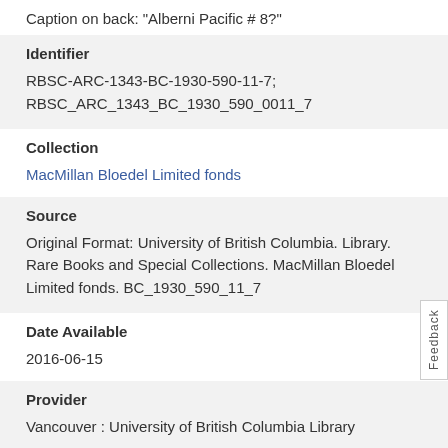Caption on back: "Alberni Pacific # 8?"
Identifier
RBSC-ARC-1343-BC-1930-590-11-7;
RBSC_ARC_1343_BC_1930_590_0011_7
Collection
MacMillan Bloedel Limited fonds
Source
Original Format: University of British Columbia. Library. Rare Books and Special Collections. MacMillan Bloedel Limited fonds. BC_1930_590_11_7
Date Available
2016-06-15
Provider
Vancouver : University of British Columbia Library
Rights